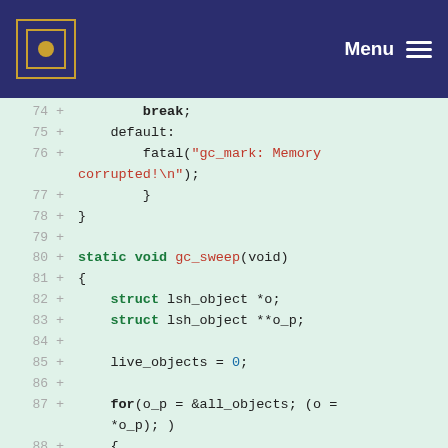Menu
[Figure (screenshot): Code diff snippet showing lines 74-91 of a C source file with gc_mark and gc_sweep functions, additions marked with +]
74  +          break;
75  +      default:
76  +          fatal("gc_mark: Memory corrupted!\n");
77  +          }
78  +  }
79  +
80  +  static void gc_sweep(void)
81  +  {
82  +      struct lsh_object *o;
83  +      struct lsh_object **o_p;
84  +
85  +      live_objects = 0;
86  +
87  +      for(o_p = &all_objects; (o = *o_p); )
88  +      {
89  +          if (o->marked)
90  +          {
91  +              /* Keep obict */